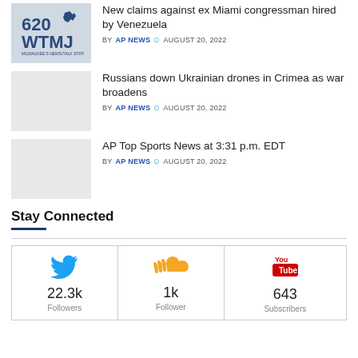[Figure (logo): 620 WTMJ radio station logo]
New claims against ex Miami congressman hired by Venezuela
BY AP NEWS · AUGUST 20, 2022
[Figure (photo): Placeholder thumbnail image]
Russians down Ukrainian drones in Crimea as war broadens
BY AP NEWS · AUGUST 20, 2022
[Figure (photo): Placeholder thumbnail image]
AP Top Sports News at 3:31 p.m. EDT
BY AP NEWS · AUGUST 20, 2022
Stay Connected
| Twitter | SoundCloud | YouTube |
| --- | --- | --- |
| 22.3k Followers | 1k Follower | 643 Subscribers |